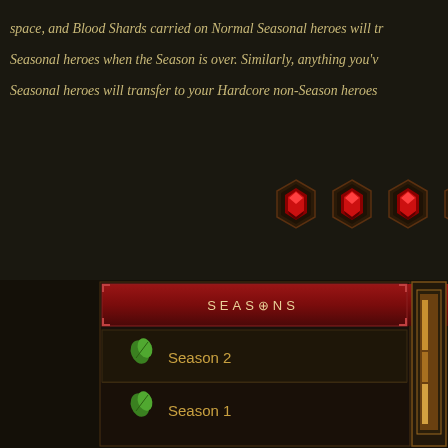space, and Blood Shards carried on Normal Seasonal heroes will transfer to your non-Seasonal heroes when the Season is over. Similarly, anything you've earned on Hardcore Seasonal heroes will transfer to your Hardcore non-Season heroes.
[Figure (illustration): Row of decorative diamond-shaped gem icons with dark frames and red centers, typical of Diablo 3 UI elements]
Season 11 Conquests
Unlike other rewards, Conquests do not roll over at the end of the Season (they are not available to non-Seasonal heroes). This also means that your non-Seasonal achievement total will not be affected by any Conquests you earn during a Season.
[Figure (screenshot): Diablo 3 game UI panel showing a SEASONS dropdown menu with Season 2 and Season 1 entries listed, each with a green leaf icon. A right side gold-bordered panel is partially visible.]